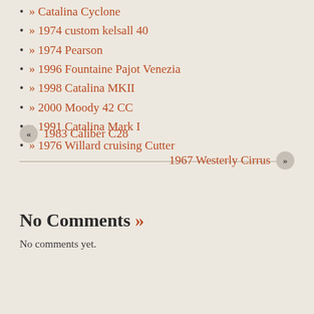» Catalina Cyclone
» 1974 custom kelsall 40
» 1974 Pearson
» 1996 Fountaine Pajot Venezia
» 1998 Catalina MKII
» 2000 Moody 42 CC
» 1991 Catalina Mark I
» 1976 Willard cruising Cutter
« 1983 Caliber C28
1967 Westerly Cirrus »
No Comments »
No comments yet.